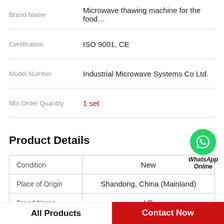| Field | Value |
| --- | --- |
| Brand Name | Microwave thawing machine for the food… |
| Certification | ISO 9001, CE |
| Model Number | Industrial Microwave Systems Co Ltd. |
| Min.Order Quantity | 1 set |
Product Details
| Field | Value |
| --- | --- |
| Condition | New |
| Place of Origin | Shandong, China (Mainland) |
| Brand Name | LD |
| Model Number | TL-15 |
All Products
Contact Now